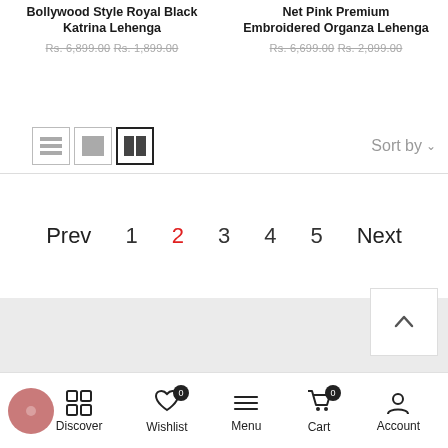Bollywood Style Royal Black Katrina Lehenga
Rs. 6,899.00 Rs. 1,899.00
Net Pink Premium Embroidered Organza Lehenga
Rs. 6,699.00 Rs. 2,099.00
Sort by
Prev  1  2  3  4  5  Next
Discover  Wishlist  Menu  Cart  Account